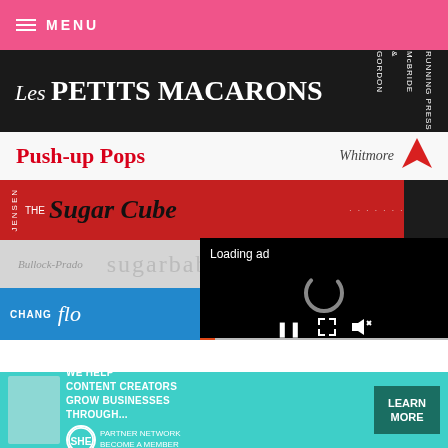≡ MENU
[Figure (photo): Stack of cookbook spines: Les Petits Macarons (black), Push-up Pops (white), The Sugar Cube (red), sugarbaby (gray), jenis Splendid Ice C... (orange), flo... (blue/Chang)]
[Figure (screenshot): Video player overlay showing 'Loading ad' text, a spinning loader, and playback controls (pause, fullscreen, mute)]
They pretty much st... get more stacks on my mantle that way. But you
[Figure (infographic): Advertisement banner: WE HELP CONTENT CREATORS GROW BUSINESSES THROUGH... SHE PARTNER NETWORK BECOME A MEMBER, with LEARN MORE button]